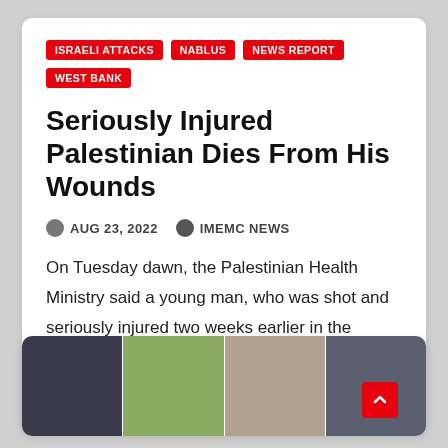ISRAELI ATTACKS
NABLUS
NEWS REPORT
WEST BANK
Seriously Injured Palestinian Dies From His Wounds
AUG 23, 2022   IMEMC NEWS
On Tuesday dawn, the Palestinian Health Ministry said a young man, who was shot and seriously injured two weeks earlier in the northern West Bank city of Nablus, had succumbed…
[Figure (photo): Four portrait photos of individuals arranged in a horizontal strip at the bottom of the page]